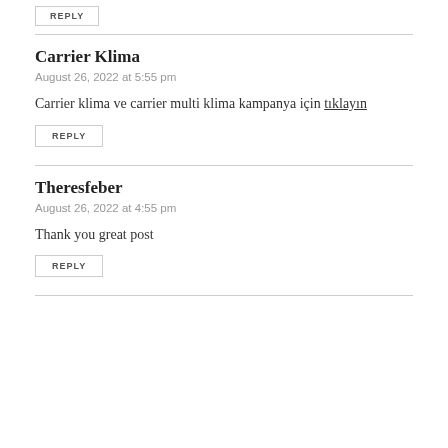REPLY
Carrier Klima
August 26, 2022 at 5:55 pm
Carrier klima ve carrier multi klima kampanya için tıklayın
REPLY
Theresfeber
August 26, 2022 at 4:55 pm
Thank you great post
REPLY